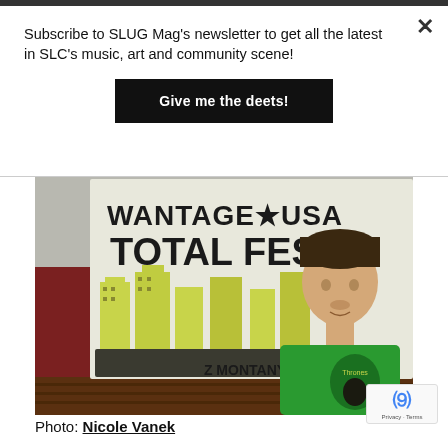Subscribe to SLUG Mag's newsletter to get all the latest in SLC's music, art and community scene!
Give me the deets!
[Figure (photo): Man in green Thrones t-shirt standing in front of a white banner reading WANTAGE USA TOTAL FEST Z MONTANY with yellow illustrated buildings on it. Red wooden wall visible in background.]
Photo: Nicole Vanek